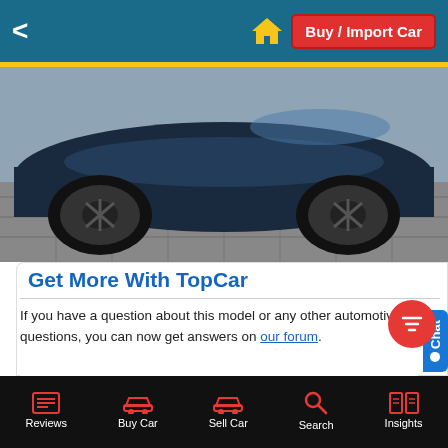Buy / Import Car
[Figure (photo): Partial view of a dark-colored car on a showroom floor, showing the lower body, wheel, and tire area.]
Get More With TopCar
If you have a question about this model or any other automotive questions, you can now get answers on our forum.
If you want to sell or trade-in you vehicle, you can list it for free via our seller portal.
If you wish to purchase this model local or abroad, you can do that via our marketplace.
Reviews | Buy Car | Sell Car | Search | Insights